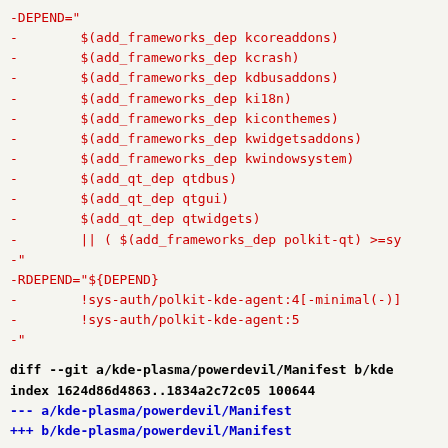-DEPEND="
-        $(add_frameworks_dep kcoreaddons)
-        $(add_frameworks_dep kcrash)
-        $(add_frameworks_dep kdbusaddons)
-        $(add_frameworks_dep ki18n)
-        $(add_frameworks_dep kiconthemes)
-        $(add_frameworks_dep kwidgetsaddons)
-        $(add_frameworks_dep kwindowsystem)
-        $(add_qt_dep qtdbus)
-        $(add_qt_dep qtgui)
-        $(add_qt_dep qtwidgets)
-        || ( $(add_frameworks_dep polkit-qt) >=sy
-"
-RDEPEND="${DEPEND}
-        !sys-auth/polkit-kde-agent:4[-minimal(-)]
-        !sys-auth/polkit-kde-agent:5
-"
diff --git a/kde-plasma/powerdevil/Manifest b/kde
index 1624d86d4863..1834a2c72c05 100644
--- a/kde-plasma/powerdevil/Manifest
+++ b/kde-plasma/powerdevil/Manifest